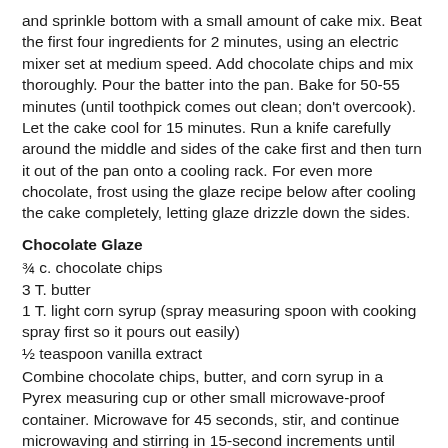and sprinkle bottom with a small amount of cake mix. Beat the first four ingredients for 2 minutes, using an electric mixer set at medium speed. Add chocolate chips and mix thoroughly. Pour the batter into the pan. Bake for 50-55 minutes (until toothpick comes out clean; don't overcook). Let the cake cool for 15 minutes. Run a knife carefully around the middle and sides of the cake first and then turn it out of the pan onto a cooling rack. For even more chocolate, frost using the glaze recipe below after cooling the cake completely, letting glaze drizzle down the sides.
Chocolate Glaze
¾ c. chocolate chips
3 T. butter
1 T. light corn syrup (spray measuring spoon with cooking spray first so it pours out easily)
½ teaspoon vanilla extract
Combine chocolate chips, butter, and corn syrup in a Pyrex measuring cup or other small microwave-proof container. Microwave for 45 seconds, stir, and continue microwaving and stirring in 15-second increments until chocolate melts. Beat well, add vanilla, and then drizzle over cooled cake.
Contributed by Mary Some (excerpt, third of a from...